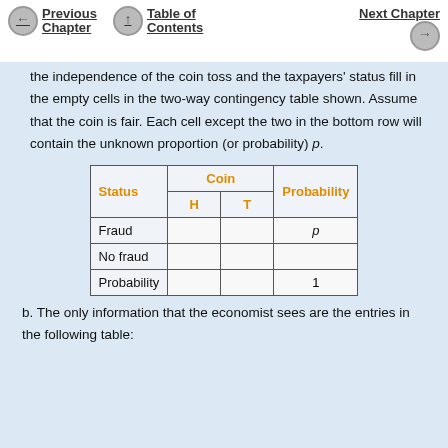Previous Chapter | Table of Contents | Next Chapter
the independence of the coin toss and the taxpayers' status fill in the empty cells in the two-way contingency table shown. Assume that the coin is fair. Each cell except the two in the bottom row will contain the unknown proportion (or probability) p.
| Status | Coin H | Coin T | Probability |
| --- | --- | --- | --- |
| Fraud |  |  | p |
| No fraud |  |  |  |
| Probability |  |  | 1 |
b. The only information that the economist sees are the entries in the following table: